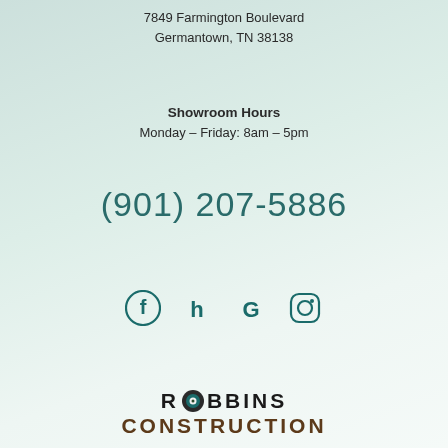7849 Farmington Boulevard
Germantown, TN 38138
Showroom Hours
Monday – Friday: 8am – 5pm
(901) 207-5886
[Figure (illustration): Social media icons: Facebook, Houzz, Google, Instagram]
[Figure (logo): Robbins Construction logo with decorative O containing a flower/compass icon]